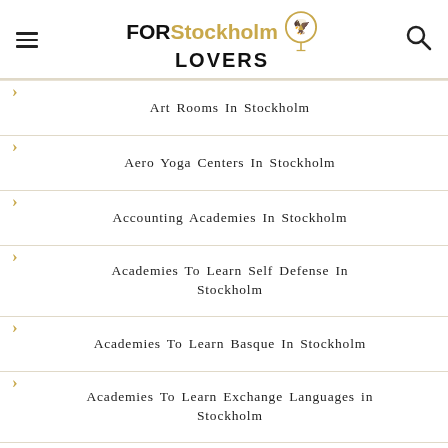FOR Stockholm LOVERS
Art Rooms In Stockholm
Aero Yoga Centers In Stockholm
Accounting Academies In Stockholm
Academies To Learn Self Defense In Stockholm
Academies To Learn Basque In Stockholm
Academies To Learn Exchange Languages in Stockholm
Aesthetic Appliance Courses In Stockholm